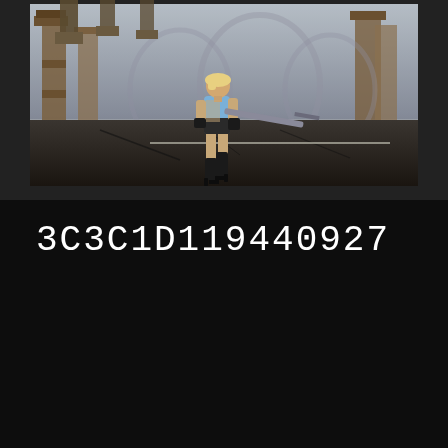[Figure (screenshot): Video game screenshot showing a female character with blonde hair wearing a short outfit and high-heeled boots, carrying a large sword, walking through a post-apocalyptic arena with rusted mechanical structures and gothic architecture in the background. The scene has dark, industrial tones.]
3C3C1D119440927